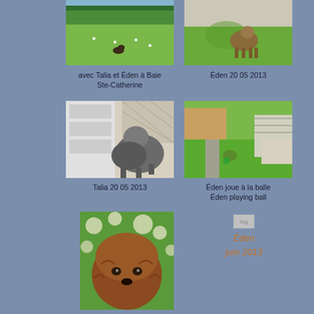[Figure (photo): Dog in a green field, with trees in background — avec Talia et Éden à Baie Ste-Catherine]
[Figure (photo): Dog standing on grass near a fence — Éden 20 05 2013]
avec Talia et Éden à Baie Ste-Catherine
Éden 20 05 2013
[Figure (photo): Shaggy grey dog on a patio/deck — Talia 20 05 2013]
[Figure (photo): Dog playing in green backyard — Éden joue à la balle / Éden playing ball]
Talia 20 05 2013
Éden joue à la balle
Éden playing ball
[Figure (photo): Close-up of a reddish-brown fluffy dog face]
[Figure (photo): Small image placeholder with text: Éden juin 2013]